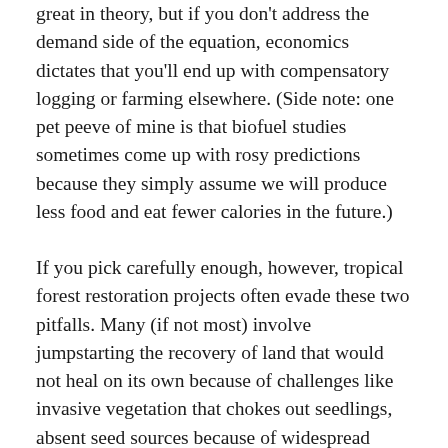great in theory, but if you don't address the demand side of the equation, economics dictates that you'll end up with compensatory logging or farming elsewhere. (Side note: one pet peeve of mine is that biofuel studies sometimes come up with rosy predictions because they simply assume we will produce less food and eat fewer calories in the future.)
If you pick carefully enough, however, tropical forest restoration projects often evade these two pitfalls. Many (if not most) involve jumpstarting the recovery of land that would not heal on its own because of challenges like invasive vegetation that chokes out seedlings, absent seed sources because of widespread forest clearing, or heavily degraded soils from overgrazing or nutrient depletion. So you can go ahead and tick that box for additionality. And so long as the restoration activities take place in protected settings like national parks or community forest, you shouldn't see compensatory carbon and claiming elsewhere. For so you to that,